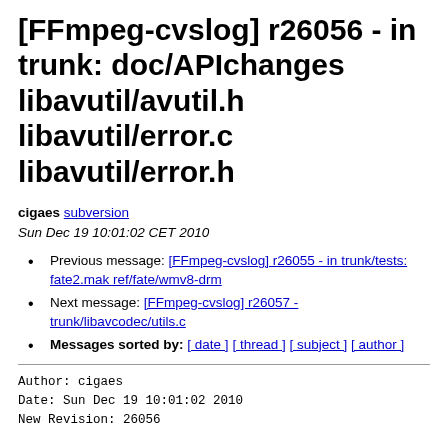[FFmpeg-cvslog] r26056 - in trunk: doc/APIchanges libavutil/avutil.h libavutil/error.c libavutil/error.h
cigaes subversion
Sun Dec 19 10:01:02 CET 2010
Previous message: [FFmpeg-cvslog] r26055 - in trunk/tests: fate2.mak ref/fate/wmv8-drm
Next message: [FFmpeg-cvslog] r26057 - trunk/libavcodec/utils.c
Messages sorted by: [ date ] [ thread ] [ subject ] [ author ]
Author: cigaes
Date: Sun Dec 19 10:01:02 2010
New Revision: 26056